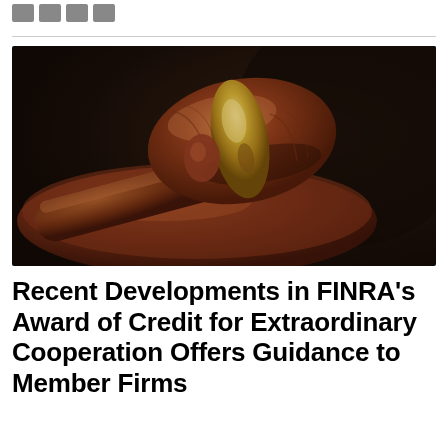[Figure (photo): Close-up photograph of a wooden judge's gavel resting on its sound block, dark background, brown wood tones with golden metallic band on the gavel head.]
Recent Developments in FINRA's Award of Credit for Extraordinary Cooperation Offers Guidance to Member Firms